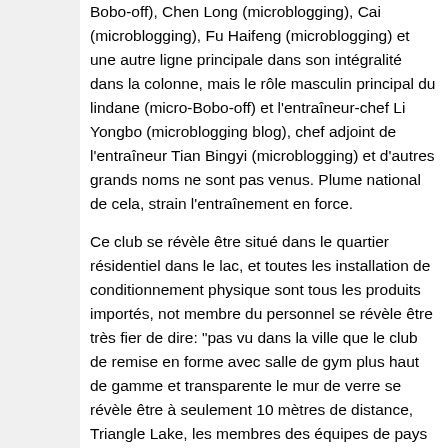Bobo-off), Chen Long (microblogging), Cai (microblogging), Fu Haifeng (microblogging) et une autre ligne principale dans son intégralité dans la colonne, mais le rôle masculin principal du lindane (micro-Bobo-off) et l'entraîneur-chef Li Yongbo (microblogging blog), chef adjoint de l'entraîneur Tian Bingyi (microblogging) et d'autres grands noms ne sont pas venus. Plume national de cela, strain l'entraînement en force.
Ce club se révèle être situé dans le quartier résidentiel dans le lac, et toutes les installation de conditionnement physique sont tous les produits importés, not membre du personnel se révèle être très fier de dire: "pas vu dans la ville que le club de remise en forme avec salle de gym plus haut de gamme et transparente le mur de verre se révèle être à seulement 10 mètres de distance, Triangle Lake, les membres des équipes de pays <a href="http://www.chaussuresasics.com">chaussures asics</a> de plumes tout en pratiquant le pouvoir se révèle être la beauté des paysages, mais aussi profiter des lacs et